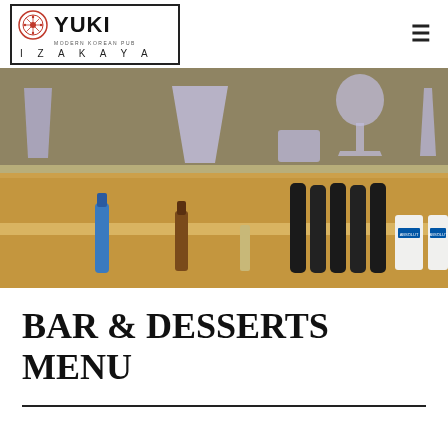[Figure (logo): Yuki Izakaya logo — red circular Korean ornamental emblem, bold text YUKI, subtitle MODERN KOREAN PUB, and IZAKAYA spelled out below, all within a rectangular border]
[Figure (photo): Restaurant bar photo showing glassware silhouettes (pint glass, large tapered glass, rocks glass, wine glass, champagne flute) on a taupe/olive wall above a wooden bar shelf lined with spirit bottles including Bombay Sapphire (blue), Absolut vodka, wine bottles, and other spirits]
BAR & DESSERTS MENU